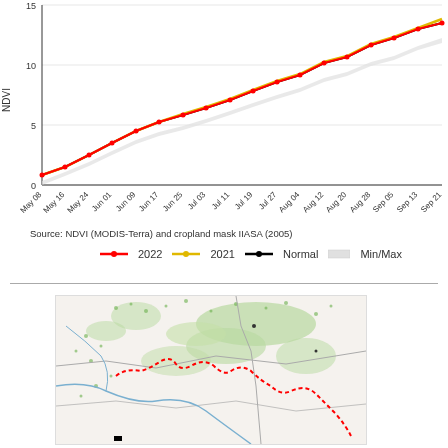[Figure (line-chart): NDVI]
Source: NDVI (MODIS-Terra) and cropland mask IIASA (2005)
[Figure (map): Regional map showing green vegetation areas and a red dotted boundary line indicating a region of interest, with blue river lines and grey administrative borders.]